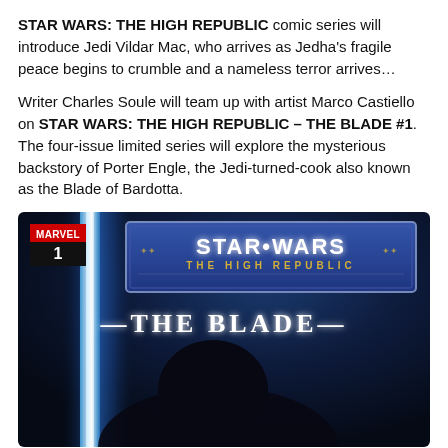STAR WARS: THE HIGH REPUBLIC comic series will introduce Jedi Vildar Mac, who arrives as Jedha's fragile peace begins to crumble and a nameless terror arrives…
Writer Charles Soule will team up with artist Marco Castiello on STAR WARS: THE HIGH REPUBLIC – THE BLADE #1. The four-issue limited series will explore the mysterious backstory of Porter Engle, the Jedi-turned-cook also known as the Blade of Bardotta.
[Figure (illustration): Comic book cover for Star Wars: The High Republic – The Blade #1 by Marvel. Shows a blue lightsaber illuminating a dark background with a silhouetted figure. Marvel logo with issue number 1 in upper left. Star Wars: The High Republic logo in upper center. The Blade title in lower center.]